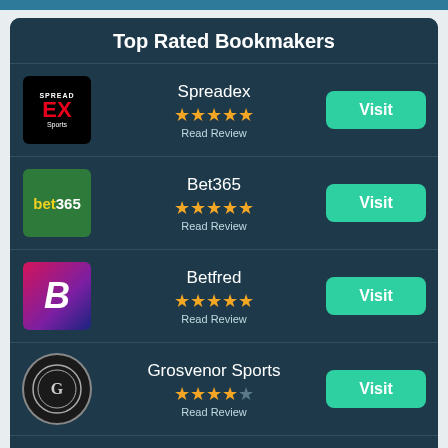Top Rated Bookmakers
Spreadex ★★★★★ Read Review
Bet365 ★★★★★ Read Review
Betfred ★★★★★ Read Review
Grosvenor Sports ★★★★☆ Read Review
LiveScore Bet ★★★★☆ Read Review